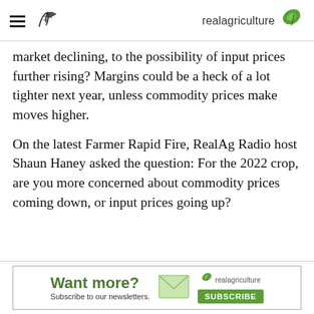realagriculture
market declining, to the possibility of input prices further rising? Margins could be a heck of a lot tighter next year, unless commodity prices make moves higher.
On the latest Farmer Rapid Fire, RealAg Radio host Shaun Haney asked the question: For the 2022 crop, are you more concerned about commodity prices coming down, or input prices going up?
[Figure (infographic): Advertisement banner: 'Want more? Subscribe to our newsletters.' with realagriculture logo and SUBSCRIBE button]